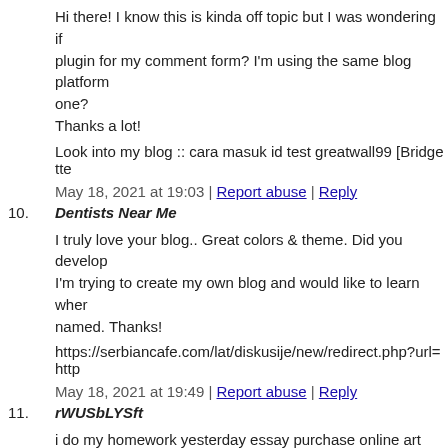Hi there! I know this is kinda off topic but I was wondering if plugin for my comment form? I'm using the same blog platform one? Thanks a lot!
Look into my blog :: cara masuk id test greatwall99 [Bridgette
May 18, 2021 at 19:03 | Report abuse | Reply
10. Dentists Near Me
I truly love your blog.. Great colors & theme. Did you develop I'm trying to create my own blog and would like to learn wher named. Thanks!
https://serbiancafe.com/lat/diskusije/new/redirect.php?url=http
May 18, 2021 at 19:49 | Report abuse | Reply
11. rWUSbLYSft
i do my homework yesterday essay purchase online art history help
May 18, 2021 at 20:11 | Report abuse | Reply
12. Bennett Maserati